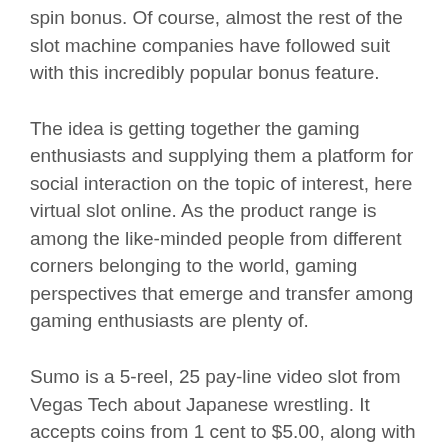spin bonus. Of course, almost the rest of the slot machine companies have followed suit with this incredibly popular bonus feature.
The idea is getting together the gaming enthusiasts and supplying them a platform for social interaction on the topic of interest, here virtual slot online. As the product range is among the like-minded people from different corners belonging to the world, gaming perspectives that emerge and transfer among gaming enthusiasts are plenty of.
Sumo is a 5-reel, 25 pay-line video slot from Vegas Tech about Japanese wrestling. It accepts coins from 1 cent to $5.00, along with the maximum involving coins which you can